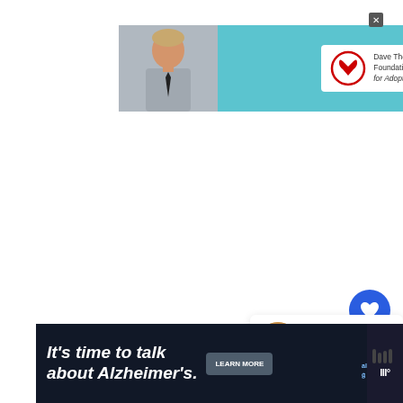[Figure (screenshot): Top advertisement banner for Dave Thomas Foundation for Adoption featuring a photo of a boy in a gray shirt and tie against a teal/cyan background, with the Dave Thomas Foundation for Adoption logo on the right side and a close button in the top-right corner.]
[Figure (infographic): Social interaction UI elements: a blue circular heart/like button, a count of 40, and a white circular share button with a share icon.]
[Figure (screenshot): What's Next panel showing a thumbnail image of food (brisket) and the text 'WHAT'S NEXT → How Long To Smoke Brisk...']
[Figure (screenshot): Bottom advertisement banner with dark background reading "It's time to talk about Alzheimer's." with a LEARN MORE button and the Alzheimer's Association logo.]